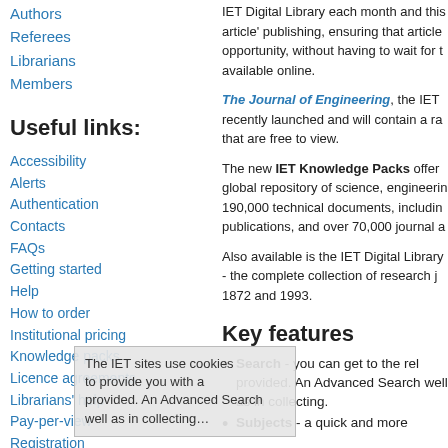Authors
Referees
Librarians
Members
Useful links:
Accessibility
Alerts
Authentication
Contacts
FAQs
Getting started
Help
How to order
Institutional pricing
Knowledge packs
Licence agreements
Librarians' help
Pay-per-view
Registration
IET Digital Library each month and this article' publishing, ensuring that article opportunity, without having to wait for t available online.
The Journal of Engineering, the IET recently launched and will contain a ra that are free to view.
The new IET Knowledge Packs offer global repository of science, engineerin 190,000 technical documents, includin publications, and over 70,000 journal a
Also available is the IET Digital Library - the complete collection of research j 1872 and 1993.
Key features
Search - you can get to the rel provided. An Advanced Search well as in collecting.
Subjects - a quick and more